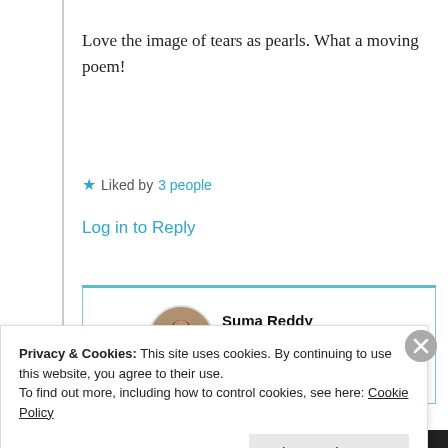Love the image of tears as pearls. What a moving poem!
★ Liked by 3 people
Log in to Reply
[Figure (photo): Circular avatar photo of Suma Reddy, a woman with dark hair]
Suma Reddy
27th Jun 2021 at 5:09 am
Privacy & Cookies: This site uses cookies. By continuing to use this website, you agree to their use.
To find out more, including how to control cookies, see here: Cookie Policy
Close and accept